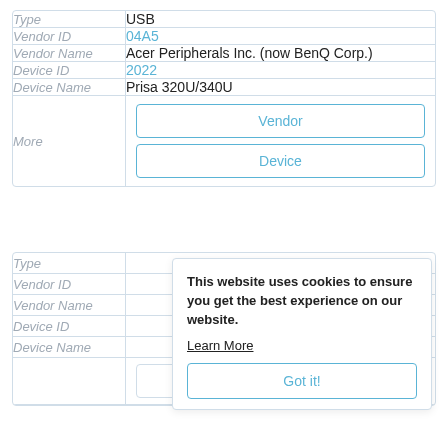| Field | Value |
| --- | --- |
| Type | USB |
| Vendor ID | 04A5 |
| Vendor Name | Acer Peripherals Inc. (now BenQ Corp.) |
| Device ID | 2022 |
| Device Name | Prisa 320U/340U |
| More | Vendor | Device |
| Field | Value |
| --- | --- |
| Type |  |
| Vendor ID |  |
| Vendor Name |  |
| Device ID |  |
| Device Name |  |
|  | Vendor |
This website uses cookies to ensure you get the best experience on our website. Learn More